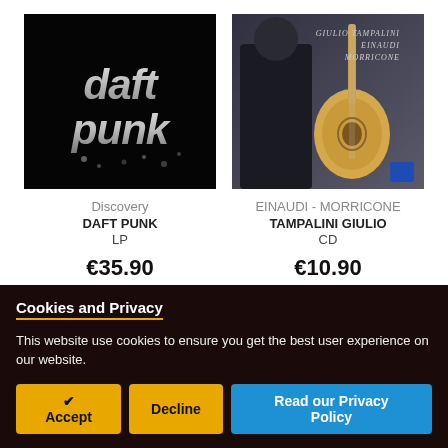[Figure (photo): Daft Punk 'Discovery' album cover - black background with 'daft punk' in metallic graffiti-style text]
[Figure (photo): Giulio Tampalini 'Einaudi Morricone' CD cover - man in black holding a classical guitar, with text overlay 'Giulio Tampalini Einaudi Morricone']
Discovery
DAFT PUNK
LP
€35.90
EINAUDI - MORRICONE
TAMPALINI GIULIO
CD
€10.90
Cookies and Privacy
This website use cookies to ensure you get the best user experience on our website.
✔ Accept
Decline
Read our Privacy Policy